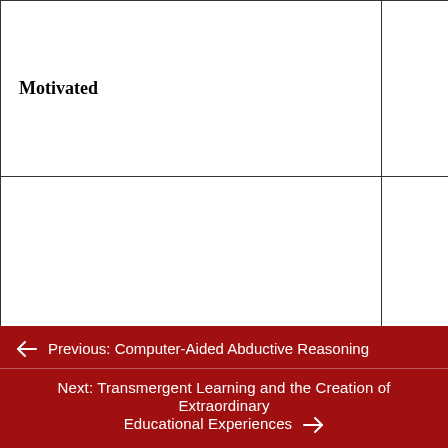|  |  |  |
| --- | --- | --- |
| Motivated | Demonstrating autonomy | ir ac exe di seu d |
|  | Persisting | Stu con wo goa met |
← Previous: Computer-Aided Abductive Reasoning
Next: Transmergent Learning and the Creation of Extraordinary Educational Experiences →